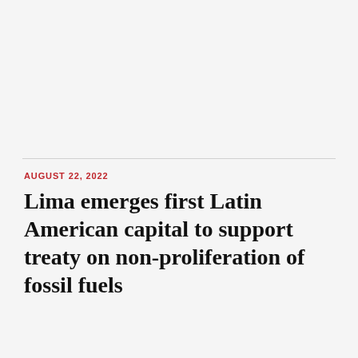AUGUST 22, 2022
Lima emerges first Latin American capital to support treaty on non-proliferation of fossil fuels